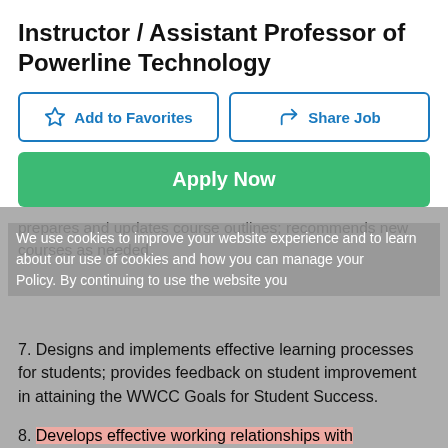Instructor / Assistant Professor of Powerline Technology
Add to Favorites
Share Job
Apply Now
prepares and updates course outlines; recommends new courses as needed.
We use cookies to improve your website experience and to learn about our use of cookies and how you can manage your Policy. By continuing to use the website you...
7. Designs and implements effective learning processes for students; provides feedback on student improvement in attaining the WWCC Goals for Student Success.
8. Develops effective working relationships with colleagues. Serves as a resource to the community by being willing to speak to groups, answer specific inquiries, assist with